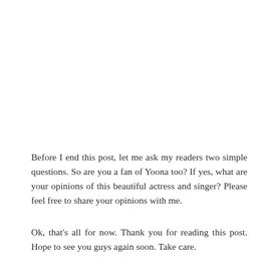Before I end this post, let me ask my readers two simple questions. So are you a fan of Yoona too? If yes, what are your opinions of this beautiful actress and singer? Please feel free to share your opinions with me.
Ok, that's all for now. Thank you for reading this post. Hope to see you guys again soon. Take care.